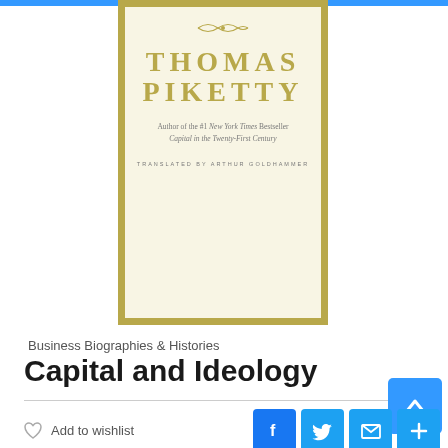[Figure (illustration): Book cover of 'Capital and Ideology' by Thomas Piketty. Cream/ivory background with gold border. Large gold serif letters spelling THOMAS PIKETTY. Below: 'Author of the #1 New York Times Bestseller Capital in the Twenty-First Century'. Then: 'TRANSLATED BY ARTHUR GOLDHAMMER'. Decorative ornament at top.]
Business Biographies & Histories
Capital and Ideology
Add to wishlist